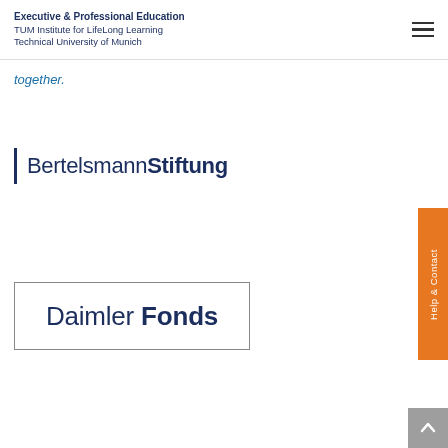Executive & Professional Education
TUM Institute for LifeLong Learning
Technical University of Munich
together.
[Figure (logo): Bertelsmann Stiftung logo with vertical bar accent and two-tone text]
[Figure (logo): Daimler Fonds logo inside a rectangular border with light and bold text]
Help & Contact